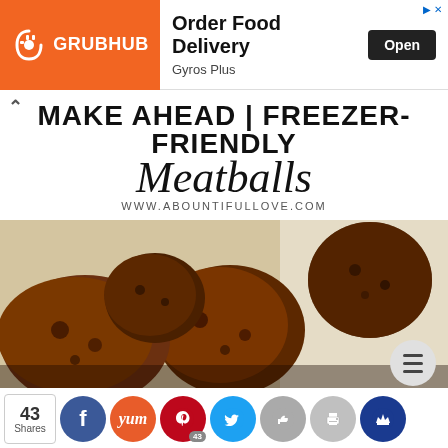[Figure (infographic): Grubhub advertisement banner with orange logo on left, 'Order Food Delivery' text, 'Gyros Plus' subtitle, and black 'Open' button on right]
MAKE AHEAD | FREEZER-FRIENDLY Meatballs
WWW.ABOUNTIFULLOVE.COM
[Figure (photo): Close-up photo of baked/cooked meatballs piled in a white parchment-lined container]
43 Shares — social sharing buttons: Facebook, Yummly, Pinterest (43), Twitter, Like, Print, Crown